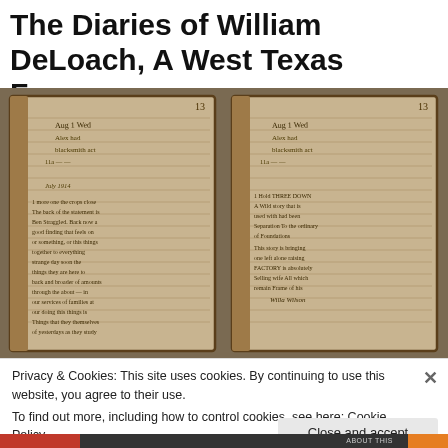The Diaries of William DeLoach, A West Texas Farmer
[Figure (photo): Two side-by-side photographs of aged, handwritten diary pages by William DeLoach. The pages are yellowed and worn, showing handwritten cursive entries with faint ruled lines. One page has a numbered entry visible. Both show similar content from different angles or copies.]
Privacy & Cookies: This site uses cookies. By continuing to use this website, you agree to their use.
To find out more, including how to control cookies, see here: Cookie Policy
Close and accept